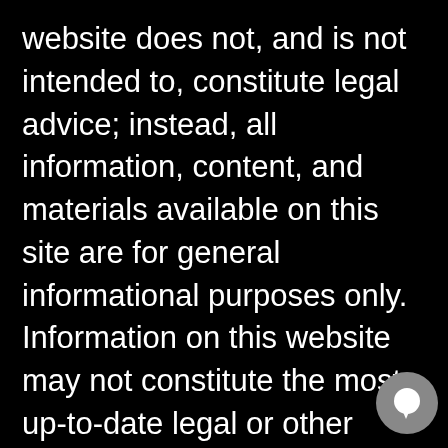website does not, and is not intended to, constitute legal advice; instead, all information, content, and materials available on this site are for general informational purposes only. Information on this website may not constitute the most up-to-date legal or other information. This website contains links to other third-party websites. Such links are only for the convenience of the reader, user, or browsers; Power & Power Law and its attorneys do not recommend or endorse the contents of the third-party